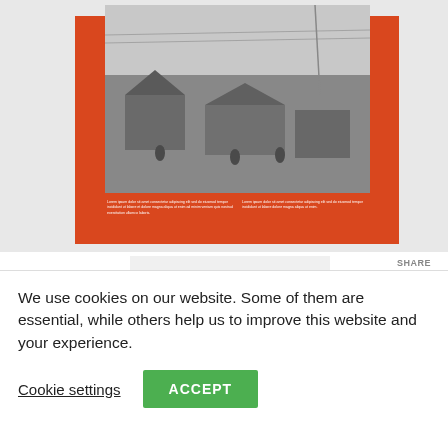[Figure (photo): Book cover with orange background and black-and-white photograph of a rural village scene with people and huts, with two columns of white text below the photo]
Visit
SHARE THIS:
[Figure (logo): Facebook logo icon, dark blue square with white 'f']
We use cookies on our website. Some of them are essential, while others help us to improve this website and your experience.
Cookie settings
ACCEPT